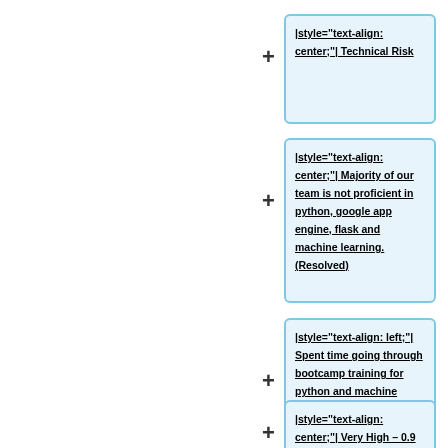|style="text-align: center;"| Technical Risk
|style="text-align: center;"| Majority of our team is not proficient in python, google app engine, flask and machine learning. (Resolved)
|style="text-align: left;"| Spent time going through bootcamp training for python and machine learning to build on our foundation. We will also take various modules such as visual analytics, AA, EWS and networking to build on our competency.
|style="text-align: center;"| Very High – 0.9